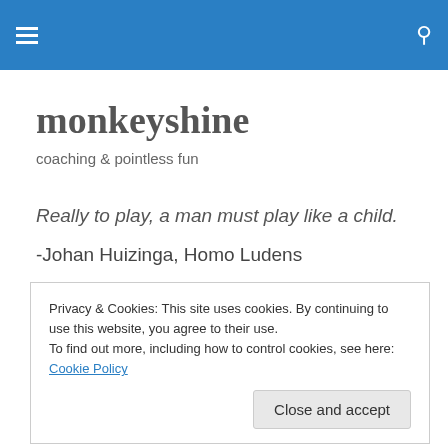monkeyshine — navigation header with hamburger menu and search icon
monkeyshine
coaching & pointless fun
Really to play, a man must play like a child.
-Johan Huizinga, Homo Ludens
Privacy & Cookies: This site uses cookies. By continuing to use this website, you agree to their use. To find out more, including how to control cookies, see here: Cookie Policy
Close and accept